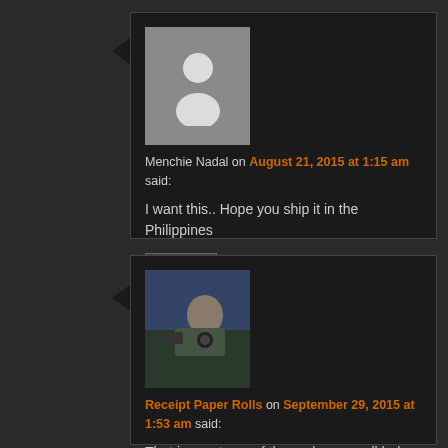[Figure (illustration): Gray placeholder avatar with silhouette of a person]
Menchie Nadal on August 21, 2015 at 1:15 am said:
I want this.. Hope you ship it in the Philippines
Reply ↓
[Figure (photo): Photo of a person with a camera against an outdoor background]
Receipt Paper Rolls on September 29, 2015 at 1:53 am said:
That is great use of thermal paper roll.haha~
Reply ↓